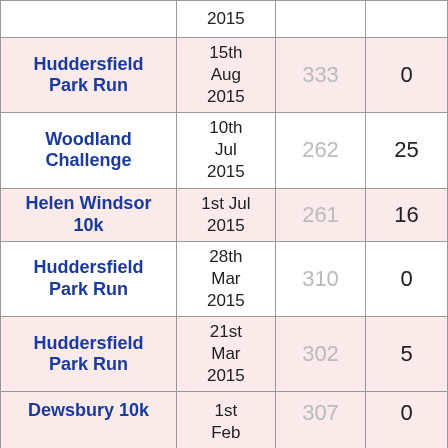| Event | Date |  |  |
| --- | --- | --- | --- |
|  | 2015 |  |  |
| Huddersfield Park Run | 15th Aug 2015 | 333 | 0 |
| Woodland Challenge | 10th Jul 2015 | 262 | 25 |
| Helen Windsor 10k | 1st Jul 2015 | 261 | 16 |
| Huddersfield Park Run | 28th Mar 2015 | 310 | 0 |
| Huddersfield Park Run | 21st Mar 2015 | 302 | 5 |
| Dewsbury 10k | 1st Feb | 307 | 0 |